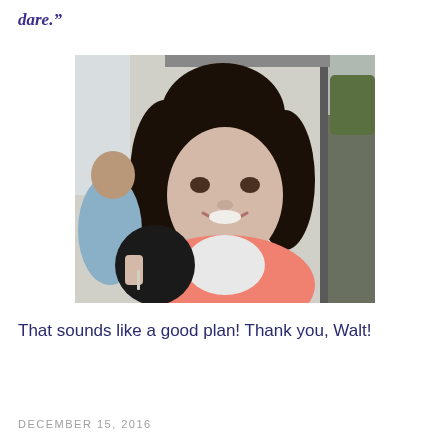dare.”
[Figure (photo): Photo of a smiling woman with dark curly hair wearing a salmon/pink jacket, seated inside what appears to be a vehicle or bus near a window.]
That sounds like a good plan! Thank you, Walt!
DECEMBER 15, 2016